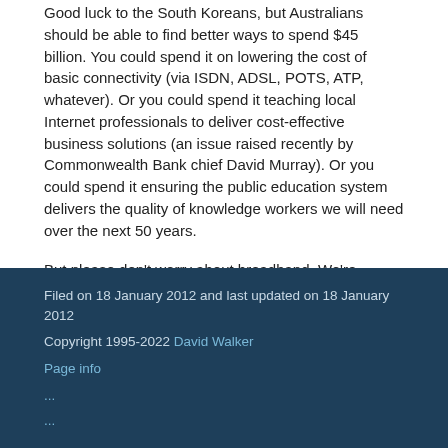Good luck to the South Koreans, but Australians should be able to find better ways to spend $45 billion. You could spend it on lowering the cost of basic connectivity (via ISDN, ADSL, POTS, ATP, whatever). Or you could spend it teaching local Internet professionals to deliver cost-effective business solutions (an issue raised recently by Commonwealth Bank chief David Murray). Or you could spend it ensuring the public education system delivers the quality of knowledge workers we will need over the next 50 years.
But please don't worry about broadband. We're number 16 on the OECD list, wedged comfortably between Switzerland and Norway. It'd be nice to be higher, but it isn't a big problem. Relax. Go eat a mango instead.
Filed on 18 January 2012 and last updated on 18 January 2012
Copyright 1995-2022 David Walker
Page info
...
...